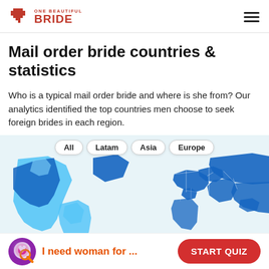ONE BEAUTIFUL BRIDE
Mail order bride countries & statistics
Who is a typical mail order bride and where is she from? Our analytics identified the top countries men choose to seek foreign brides in each region.
[Figure (map): World map showing highlighted countries (in blue) where men seek foreign brides, with filter tabs: All, Latam, Asia, Europe]
I need woman for ...
START QUIZ